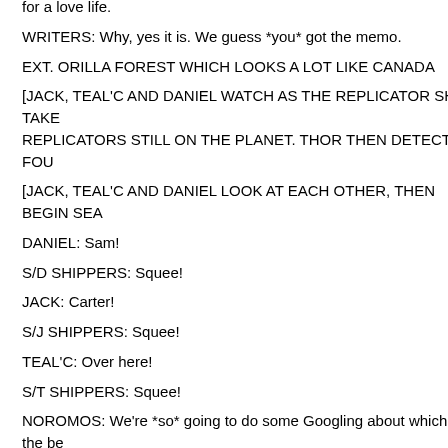for a love life.
WRITERS: Why, yes it is. We guess *you* got the memo.
EXT. ORILLA FOREST WHICH LOOKS A LOT LIKE CANADA
[JACK, TEAL'C AND DANIEL WATCH AS THE REPLICATOR SHIP TAKE REPLICATORS STILL ON THE PLANET. THOR THEN DETECTS A FOU
[JACK, TEAL'C AND DANIEL LOOK AT EACH OTHER, THEN BEGIN SEA
DANIEL: Sam!
S/D SHIPPERS: Squee!
JACK: Carter!
S/J SHIPPERS: Squee!
TEAL'C: Over here!
S/T SHIPPERS: Squee!
NOROMOS: We're *so* going to do some Googling about which are the be
[TEAL'C IS HELPING SAM SIT UP AS JACK AND DANIEL ARRIVE.]
S/T SHIPPERS: [swoon]
JACK: You okay?
SAM: Glad to see you, Sir.
JACK: Likewise.
NOROMOS: Oh yeah, we were feeling the love in that scene.